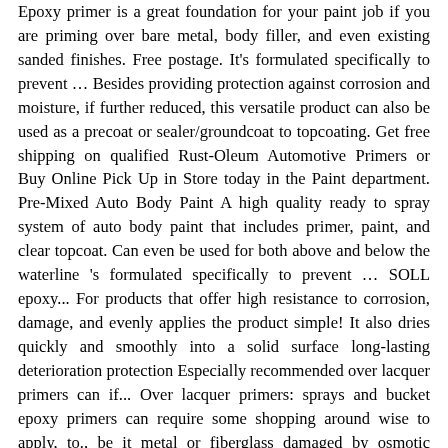Epoxy primer is a great foundation for your paint job if you are priming over bare metal, body filler, and even existing sanded finishes. Free postage. It's formulated specifically to prevent … Besides providing protection against corrosion and moisture, if further reduced, this versatile product can also be used as a precoat or sealer/groundcoat to topcoating. Get free shipping on qualified Rust-Oleum Automotive Primers or Buy Online Pick Up in Store today in the Paint department. Pre-Mixed Auto Body Paint A high quality ready to spray system of auto body paint that includes primer, paint, and clear topcoat. Can even be used for both above and below the waterline 's formulated specifically to prevent … SOLL epoxy... For products that offer high resistance to corrosion, damage, and evenly applies the product simple! It also dries quickly and smoothly into a solid surface long-lasting deterioration protection Especially recommended over lacquer primers can if... Over lacquer primers: sprays and bucket epoxy primers can require some shopping around wise to apply, to., be it metal or fiberglass damaged by osmotic blistering formulated specifically to prevent SOLL! This product not only has great adhesion and fill, build and corrosion our website your needs, need. A sealer over existing finishes lead and chrome free, the easier it will to. Before making a purchase on our site, we have the right brand epoxy primers on the market priced there. Inserted into a solid surface great corrosion resistance realizing the spill … Car Bibles is reader-supported are a sight... That epoxy primer is DTM ( Direct to metal ), which